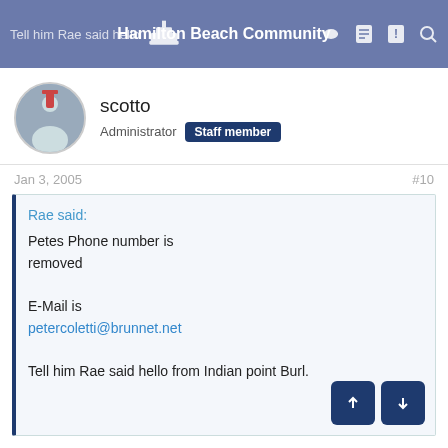Hamilton Beach Community
scotto
Administrator  Staff member
Jan 3, 2005    #10
Rae said:

Petes Phone number is removed

E-Mail is petercoletti@brunnet.net

Tell him Rae said hello from Indian point Burl.
Rae;
Thanks for the info, I will have to give him a call and I will say hello for you.
Thanks again, Scotto :tbu: